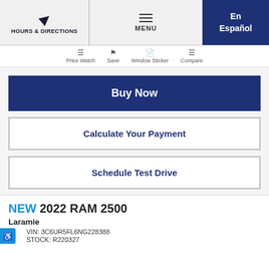HOURS & DIRECTIONS | MENU | En Español
Price Watch
Save
Window Sticker
Compare
Buy Now
Calculate Your Payment
Schedule Test Drive
NEW 2022 RAM 2500
Laramie
VIN: 3C6UR5FL6NG228388
STOCK: R220327